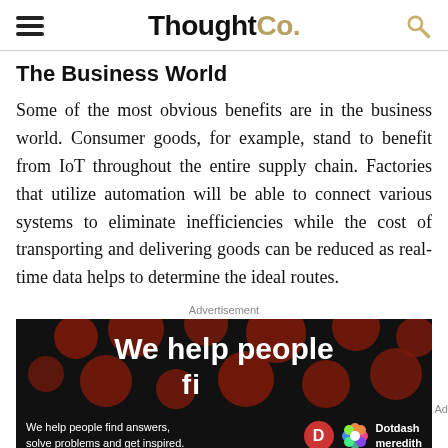ThoughtCo.
The Business World
Some of the most obvious benefits are in the business world. Consumer goods, for example, stand to benefit from IoT throughout the entire supply chain. Factories that utilize automation will be able to connect various systems to eliminate inefficiencies while the cost of transporting and delivering goods can be reduced as real-time data helps to determine the ideal routes.
Advertisement
[Figure (photo): Advertisement banner with dark background and red polka dots showing text 'We help people' and bottom bar with Dotdash Meredith branding and text 'We help people find answers, solve problems and get inspired.']